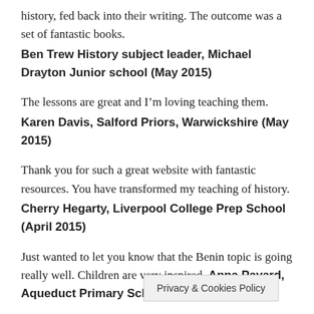history, fed back into their writing. The outcome was a set of fantastic books. Ben Trew History subject leader, Michael Drayton Junior school (May 2015)
The lessons are great and I’m loving teaching them. Karen Davis, Salford Priors, Warwickshire (May 2015)
Thank you for such a great website with fantastic resources. You have transformed my teaching of history. Cherry Hegarty, Liverpool College Prep School (April 2015)
Just wanted to let you know that the Benin topic is going really well. Children are very inspired. Anna Pavard, Aqueduct Primary Sch
Privacy & Cookies Policy